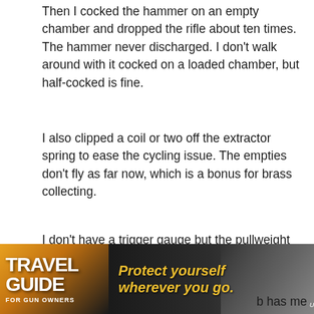Then I cocked the hammer on an empty chamber and dropped the rifle about ten times. The hammer never discharged. I don't walk around with it cocked on a loaded chamber, but half-cocked is fine.
I also clipped a coil or two off the extractor spring to ease the cycling issue. The empties don't fly as far now, which is a bonus for brass collecting.
I don't have a trigger gauge but the pullweight is slightly less than my Geisselle 2 lb SSA-E. And there is not an ounce of grit, creep, two-stage or any other movement other than a glass-rod break. Its perfect.
[Figure (other): Advertisement banner for Travel Guide for Gun Owners with U.S. LawShield. Dark background with orange/gold accents. Text reads 'TRAVEL GUIDE FOR GUN OWNERS' on left, center text 'Protect yourself wherever you go.' with orange play/arrow symbols and U.S. LawShield logo on right.]
b has me